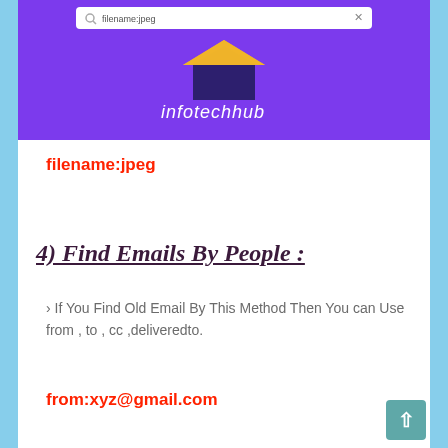[Figure (screenshot): Browser screenshot showing infotechhub website with purple background and logo consisting of a house with yellow roof above the text 'infotechhub']
filename:jpeg
4) Find Emails By People :
› If You Find Old Email By This Method Then You can Use from , to , cc ,deliveredto.
from:xyz@gmail.com